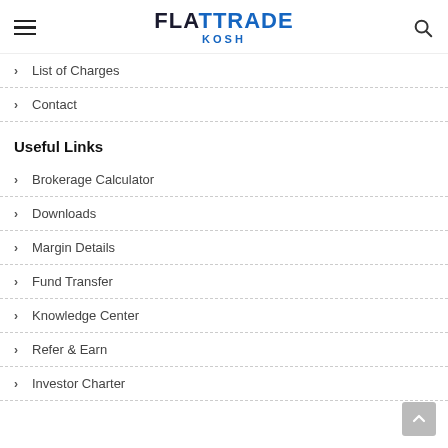FLATTRADE KOSH
List of Charges
Contact
Useful Links
Brokerage Calculator
Downloads
Margin Details
Fund Transfer
Knowledge Center
Refer & Earn
Investor Charter